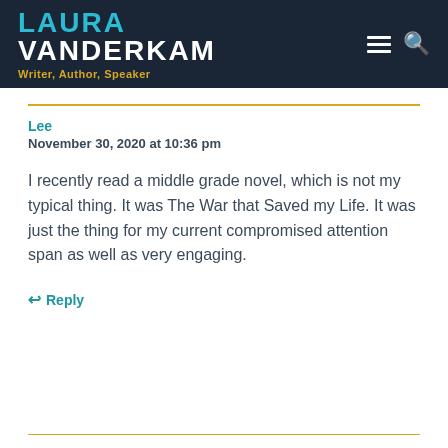LAURA VANDERKAM — Writer, Author, Speaker
Lee
November 30, 2020 at 10:36 pm
I recently read a middle grade novel, which is not my typical thing. It was The War that Saved my Life. It was just the thing for my current compromised attention span as well as very engaging.
↩ Reply